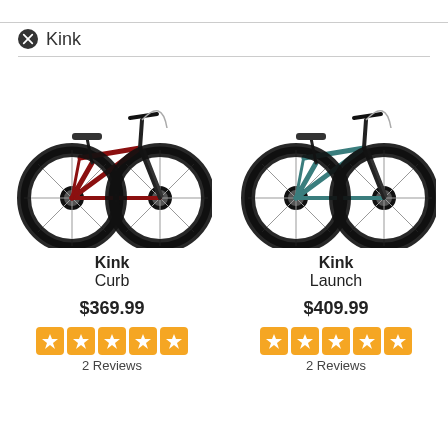Kink (filter applied)
[Figure (photo): Red Kink Curb BMX bicycle product photo]
Kink
Curb
$369.99
2 Reviews
[Figure (photo): Teal/green Kink Launch BMX bicycle product photo]
Kink
Launch
$409.99
2 Reviews